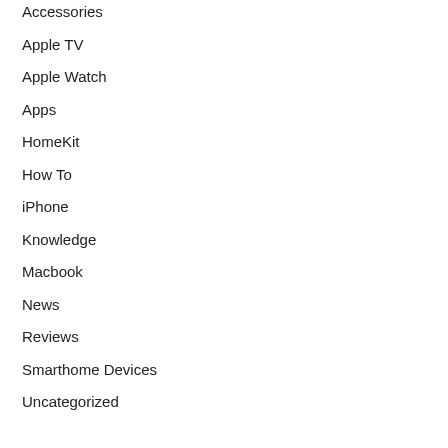Accessories
Apple TV
Apple Watch
Apps
HomeKit
How To
iPhone
Knowledge
Macbook
News
Reviews
Smarthome Devices
Uncategorized